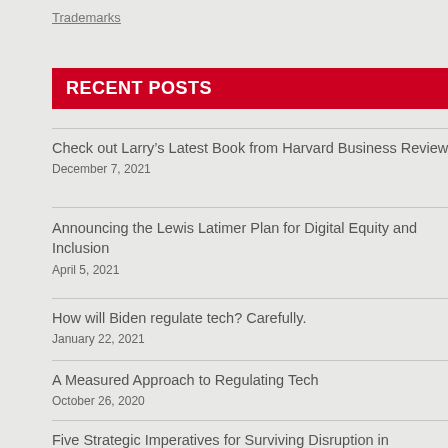Trademarks
RECENT POSTS
Check out Larry's Latest Book from Harvard Business Review!
December 7, 2021
Announcing the Lewis Latimer Plan for Digital Equity and Inclusion
April 5, 2021
How will Biden regulate tech? Carefully.
January 22, 2021
A Measured Approach to Regulating Tech
October 26, 2020
Five Strategic Imperatives for Surviving Disruption in